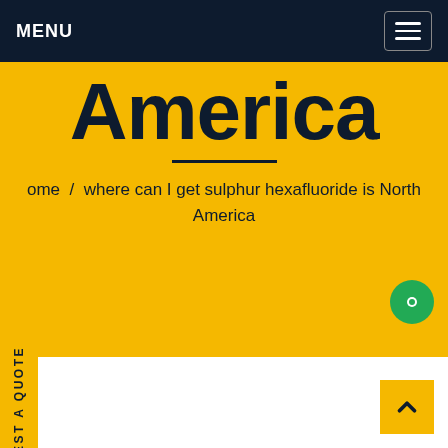MENU
America
ome / where can I get sulphur hexafluoride is North America